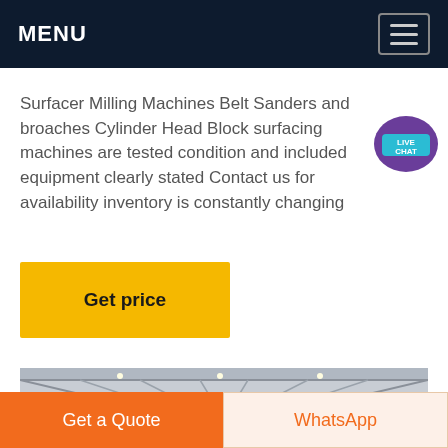MENU
Surfacer Milling Machines Belt Sanders and broaches Cylinder Head Block surfacing machines are tested condition and included equipment clearly stated Contact us for availability inventory is constantly changing
[Figure (illustration): Live Chat speech bubble icon with 'LIVE CHAT' text in teal/purple colors]
Get price
[Figure (photo): Interior of a large industrial warehouse/factory with metal roof trusses, steel columns, large machinery and equipment visible in the background]
Get a Quote
WhatsApp